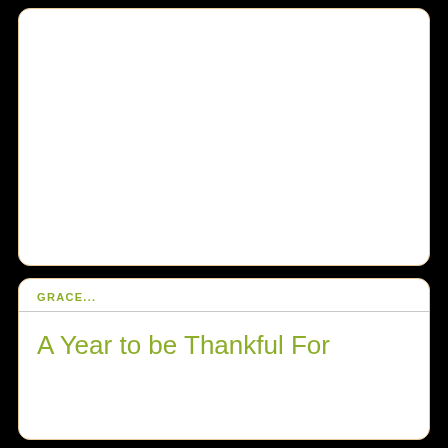[Figure (other): White rounded rectangle card area, empty top section]
GRACE...
A Year to be Thankful For